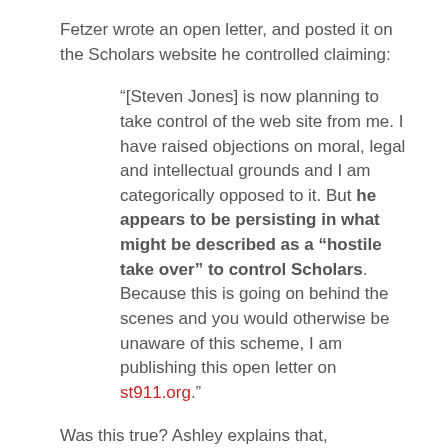Fetzer wrote an open letter, and posted it on the Scholars website he controlled claiming:
“[Steven Jones] is now planning to take control of the web site from me. I have raised objections on moral, legal and intellectual grounds and I am categorically opposed to it. But he appears to be persisting in what might be described as a “hostile take over” to control Scholars. Because this is going on behind the scenes and you would otherwise be unaware of this scheme, I am publishing this open letter on st911.org.”
Was this true? Ashley explains that, “Eventually, after several weeks involving hundreds of emails attempting to resolve the situation, a poll and